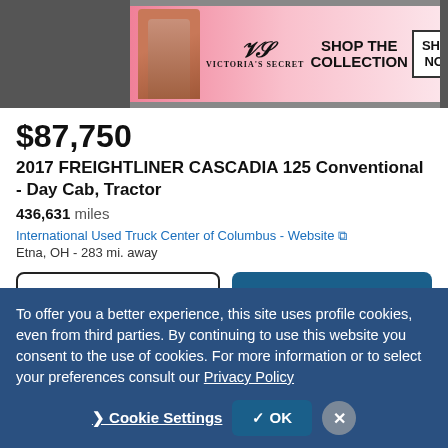[Figure (photo): Victoria's Secret advertisement banner with model and 'SHOP THE COLLECTION - SHOP NOW' text]
$87,750
2017 FREIGHTLINER CASCADIA 125 Conventional - Day Cab, Tractor
436,631 miles
International Used Truck Center of Columbus - Website
Etna, OH - 283 mi. away
Email | Call
Video chat with this dealer
To offer you a better experience, this site uses profile cookies, even from third parties. By continuing to use this website you consent to the use of cookies. For more information or to select your preferences consult our Privacy Policy
Cookie Settings | OK